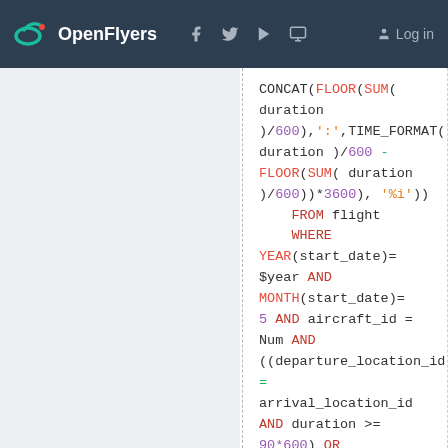OpenFlyers — website header with logo and navigation
SQL code block showing: CONCAT(FLOOR(SUM( duration )/600),':',TIME_FORMAT(S duration )/600 - FLOOR(SUM( duration )/600))*3600), '%i')) FROM flight WHERE YEAR(start_date)= $year AND MONTH(start_date)= 5 AND aircraft_id = Num AND ((departure_location_id = arrival_location_id AND duration >= 90*600) OR departure_location_id <> arrival_location_id)) AS Mai, (SELECT CONCAT(FLOOR(SUM( duration